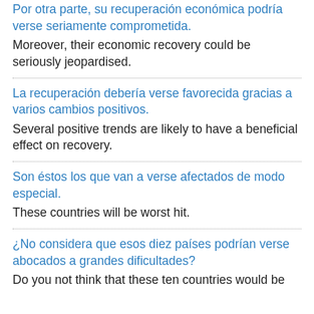Por otra parte, su recuperación económica podría verse seriamente comprometida.
Moreover, their economic recovery could be seriously jeopardised.
La recuperación debería verse favorecida gracias a varios cambios positivos.
Several positive trends are likely to have a beneficial effect on recovery.
Son éstos los que van a verse afectados de modo especial.
These countries will be worst hit.
¿No considera que esos diez países podrían verse abocados a grandes dificultades?
Do you not think that these ten countries would be...